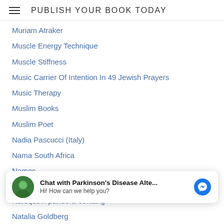PUBLISH YOUR BOOK TODAY
Muriam Atraker
Muscle Energy Technique
Muscle Stiffness
Music Carrier Of Intention In 49 Jewish Prayers
Music Therapy
Muslim Books
Muslim Poet
Nadia Pascucci (Italy)
Nama South Africa
Names
Namibia-afrikaans
Nanai Goldi (Russian Federation China)
Nancy-hay
Nancy Perloff
[Figure (other): Chat with Parkinson's Disease Alte... messenger chat banner overlay. Hi! How can we help you?]
Narsquovi-pandora-contang
Natalia Goldberg